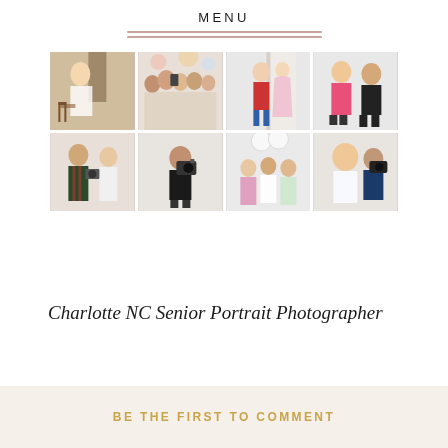MENU
[Figure (photo): A 2x4 grid of eight photographs showing various scenes from a photography studio session: young women posing, groups of girls, a photographer taking shots, and behind-the-scenes moments.]
Charlotte NC Senior Portrait Photographer
BE THE FIRST TO COMMENT